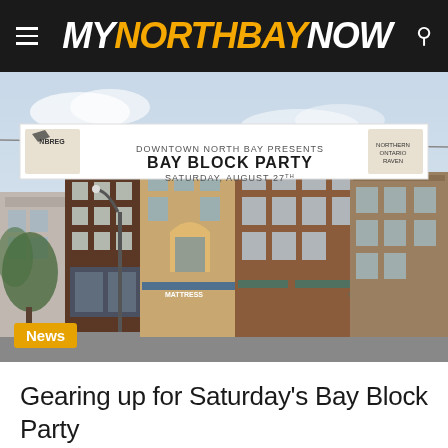MY NORTH BAY NOW
[Figure (photo): Street-level view of downtown North Bay with a banner stretched across the street reading 'Downtown North Bay Block Party Saturday, August 27' with a News badge overlay]
Gearing up for Saturday’s Bay Block Party